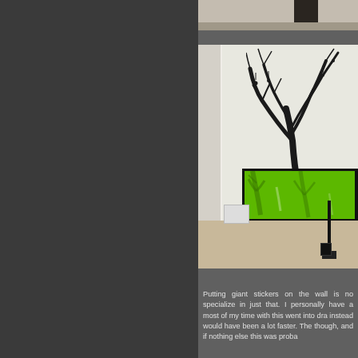[Figure (photo): Partial view of a room at top right, cropped photo showing furniture or room element]
[Figure (photo): Bedroom interior with a large black tree decal/sticker on white wall, bed with bright green patterned bedcover on black frame, lamp stand, light colored carpet floor]
Putting giant stickers on the wall is no specialize in just that. I personally have a most of my time with this went into dra instead would have been a lot faster. The though, and if nothing else this was proba